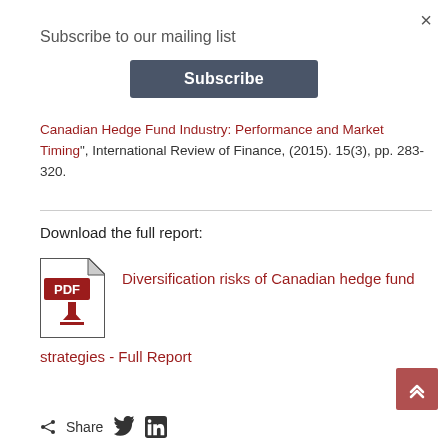×
Subscribe to our mailing list
Subscribe
Canadian Hedge Fund Industry: Performance and Market Timing", International Review of Finance, (2015). 15(3), pp. 283-320.
Download the full report:
[Figure (illustration): PDF file icon with red PDF label and red download arrow]
Diversification risks of Canadian hedge fund strategies - Full Report
Share